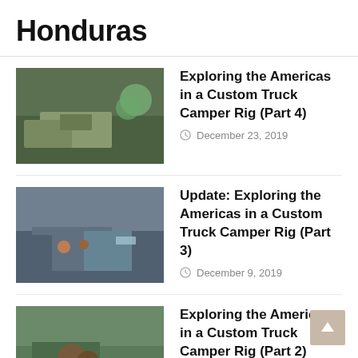Honduras
Exploring the Americas in a Custom Truck Camper Rig (Part 4) — December 23, 2019
Update: Exploring the Americas in a Custom Truck Camper Rig (Part 3) — December 9, 2019
Exploring the Americas in a Custom Truck Camper Rig (Part 2) — May 14, 2018
Exploring the Americas in a Custom Truck Camper Rig (Part 1) — May 7, 2018